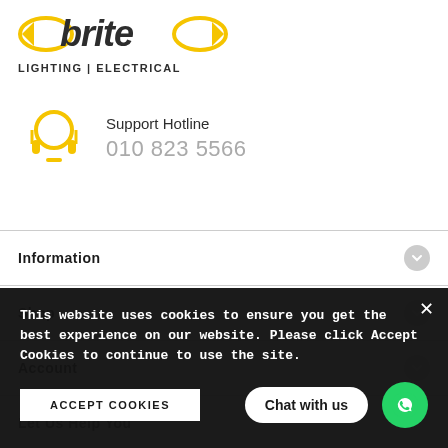[Figure (logo): Brite Lighting Electrical logo with yellow arrow shapes flanking the word 'brite' and tagline 'LIGHTING | ELECTRICAL']
Support Hotline
010 823 5566
Information
Shop
Account
Let Us Help You
This website uses cookies to ensure you get the best experience on our website. Please click Accept Cookies to continue to use the site.
ACCEPT COOKIES
Chat with us